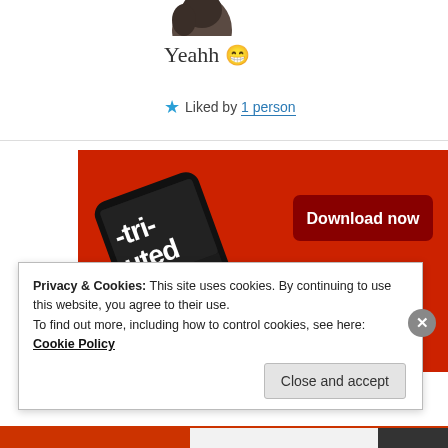[Figure (photo): Partial view of a person's avatar/profile photo at the top, cropped circle showing dark hair]
Yeahh 😁
★ Liked by 1 person
[Figure (screenshot): Advertisement banner on red background showing a smartphone with podcast app open, text '-tri-uted' visible in white, and a 'Download now' dark red button]
Privacy & Cookies: This site uses cookies. By continuing to use this website, you agree to their use.
To find out more, including how to control cookies, see here: Cookie Policy
Close and accept